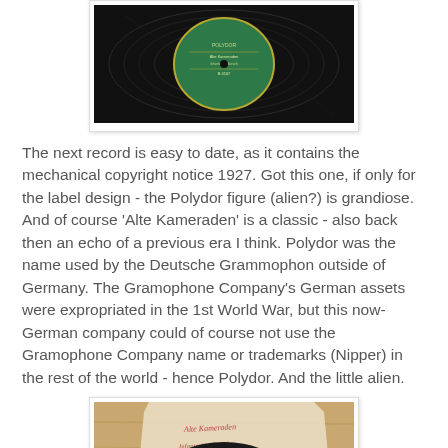[Figure (photo): Top portion of a vinyl record (78rpm) with a green label visible in the center, on a dark background]
The next record is easy to date, as it contains the mechanical copyright notice 1927. Got this one, if only for the label design - the Polydor figure (alien?) is grandiose. And of course 'Alte Kameraden' is a classic - also back then an echo of a previous era I think. Polydor was the name used by the Deutsche Grammophon outside of Germany. The Gramophone Company's German assets were expropriated in the 1st World War, but this now-German company could of course not use the Gramophone Company name or trademarks (Nipper) in the rest of the world - hence Polydor. And the little alien.
[Figure (photo): A vinyl record (78rpm) partially in a paper sleeve with handwritten text, placed on a wooden surface. A partial label is visible at the bottom of the record.]